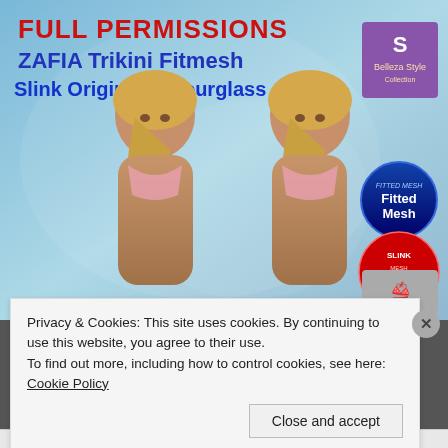[Figure (illustration): Product listing image for 'FULL PERMISSIONS ZAFIA Trikini Fitmesh Slink Original & Hourglass' – shows two 3D avatar women in floral bikini tops against a light blue background, with brand logos and badges (Fitted Mesh, Slink, Physique Compatible) on the right side.]
Privacy & Cookies: This site uses cookies. By continuing to use this website, you agree to their use.
To find out more, including how to control cookies, see here: Cookie Policy